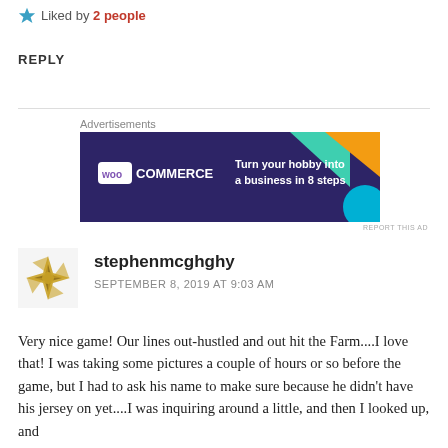Liked by 2 people
REPLY
Advertisements
[Figure (other): WooCommerce advertisement banner: purple/dark background with geometric shapes, WooCommerce logo on left, text 'Turn your hobby into a business in 8 steps' on right]
REPORT THIS AD
stephenmcghghy
SEPTEMBER 8, 2019 AT 9:03 AM
Very nice game! Our lines out-hustled and out hit the Farm....I love that! I was taking some pictures a couple of hours or so before the game, but I had to ask his name to make sure because he didn't have his jersey on yet....I was inquiring around a little, and then I looked up, and